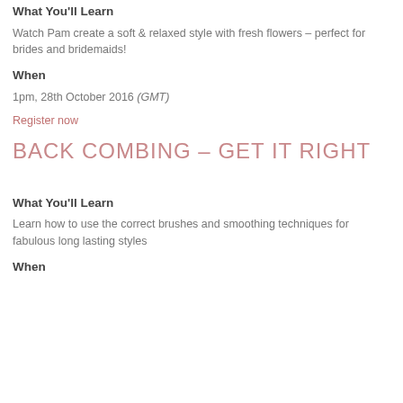What You'll Learn
Watch Pam create a soft & relaxed style with fresh flowers – perfect for brides and bridemaids!
When
1pm, 28th October 2016 (GMT)
Register now
BACK COMBING – GET IT RIGHT
What You'll Learn
Learn how to use the correct brushes and smoothing techniques for fabulous long lasting styles
When